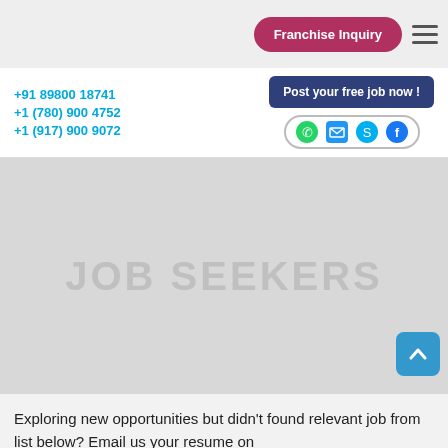Franchise Inquiry
+91 89800 18741
+1 (780) 900 4752
+1 (917) 900 9072
Post your free job now !
JOB SEEKERS
Exploring new opportunities but didn't found relevant job from list below? Email us your resume on